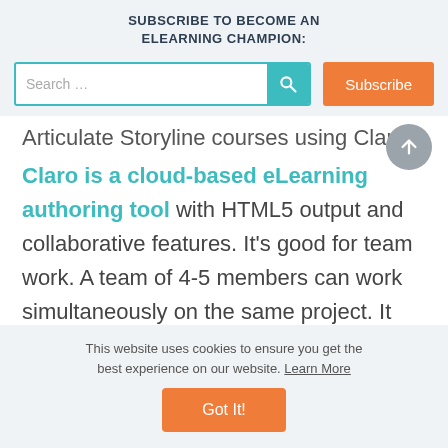SUBSCRIBE TO BECOME AN ELEARNING CHAMPION:
[Figure (screenshot): Search bar with teal icon and orange Subscribe button]
Articulate Storyline courses using Claro.
Claro is a cloud-based eLearning authoring tool with HTML5 output and collaborative features. It's good for team work. A team of 4-5 members can work simultaneously on the same project. It also helps reviewers to provide comments on the work in real time and developers can do the necessary changes
This website uses cookies to ensure you get the best experience on our website. Learn More
[Figure (other): Got It! orange button for cookie consent]